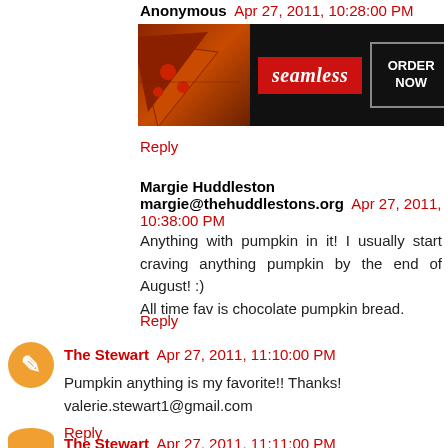Anonymous  Apr 27, 2011, 10:28:00 PM
[Figure (screenshot): Seamless food ordering advertisement banner with pizza image, seamless logo in red, and ORDER NOW button]
Reply
Margie Huddleston margie@thehuddlestons.org  Apr 27, 2011, 10:38:00 PM
Anything with pumpkin in it! I usually start craving anything pumpkin by the end of August! :)
All time fav is chocolate pumpkin bread.
Reply
The Stewart  Apr 27, 2011, 11:10:00 PM
Pumpkin anything is my favorite!! Thanks!
valerie.stewart1@gmail.com
Reply
The Stewart  Apr 27, 2011, 11:11:00 PM